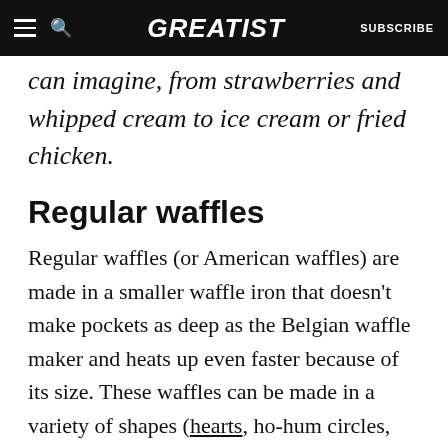GREATIST | SUBSCRIBE
can imagine, from strawberries and whipped cream to ice cream or fried chicken.
Regular waffles
Regular waffles (or American waffles) are made in a smaller waffle iron that doesn't make pockets as deep as the Belgian waffle maker and heats up even faster because of its size. These waffles can be made in a variety of shapes (hearts, ho-hum circles, squares, even characters like Darth Vader,
[Figure (other): Red advertisement banner with white dots pattern and playback/close controls]